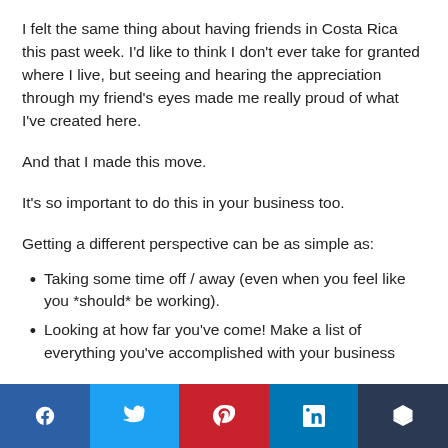I felt the same thing about having friends in Costa Rica this past week. I'd like to think I don't ever take for granted where I live, but seeing and hearing the appreciation through my friend's eyes made me really proud of what I've created here.
And that I made this move.
It's so important to do this in your business too.
Getting a different perspective can be as simple as:
Taking some time off / away (even when you feel like you *should* be working).
Looking at how far you've come! Make a list of everything you've accomplished with your business
f  [twitter]  [pinterest]  in  [buffer]